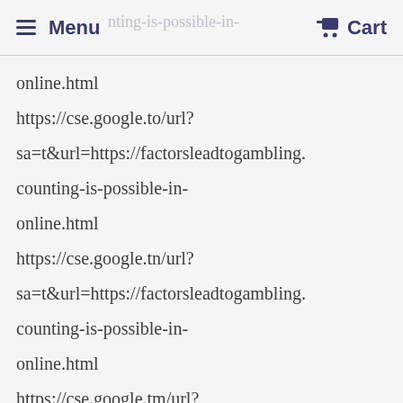Menu  Cart
online.html
https://cse.google.to/url?
sa=t&url=https://factorsleadtogambling.
counting-is-possible-in-
online.html
https://cse.google.tn/url?
sa=t&url=https://factorsleadtogambling.
counting-is-possible-in-
online.html
https://cse.google.tm/url?
sa=t&url=https://factorsleadtogambling.
counting-is-possible-in-